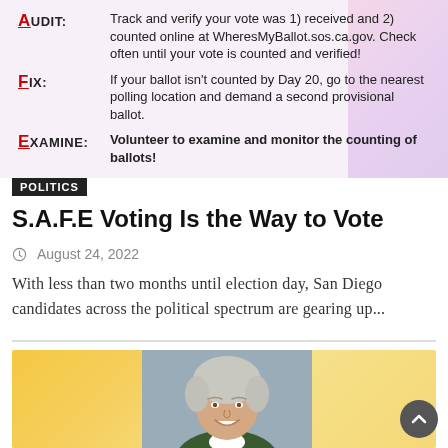[Figure (infographic): S.A.F.E. voting infographic showing a table with rows: AUDIT (track and verify your vote), FIX (if ballot not counted by Day 20), EXAMINE (volunteer to examine and monitor counting). Pink/purple decorative background on right side.]
POLITICS
S.A.F.E Voting Is the Way to Vote
August 24, 2022
With less than two months until election day, San Diego candidates across the political spectrum are gearing up...
[Figure (photo): Photo of a woman with short grey/white hair, smiling, wearing a dark green jacket. She is positioned on a yellow/orange gradient background.]